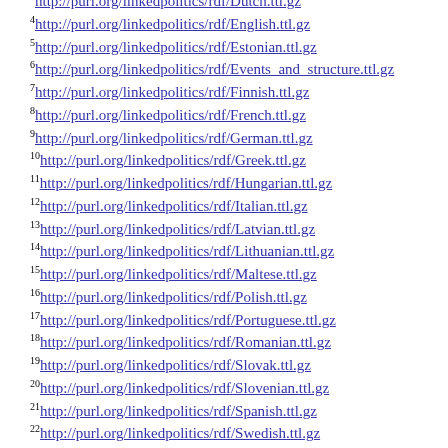3 http://purl.org/linkedpolitics/rdf/Dutch.ttl.gz
4 http://purl.org/linkedpolitics/rdf/English.ttl.gz
5 http://purl.org/linkedpolitics/rdf/Estonian.ttl.gz
6 http://purl.org/linkedpolitics/rdf/Events_and_structure.ttl.gz
7 http://purl.org/linkedpolitics/rdf/Finnish.ttl.gz
8 http://purl.org/linkedpolitics/rdf/French.ttl.gz
9 http://purl.org/linkedpolitics/rdf/German.ttl.gz
10 http://purl.org/linkedpolitics/rdf/Greek.ttl.gz
11 http://purl.org/linkedpolitics/rdf/Hungarian.ttl.gz
12 http://purl.org/linkedpolitics/rdf/Italian.ttl.gz
13 http://purl.org/linkedpolitics/rdf/Latvian.ttl.gz
14 http://purl.org/linkedpolitics/rdf/Lithuanian.ttl.gz
15 http://purl.org/linkedpolitics/rdf/Maltese.ttl.gz
16 http://purl.org/linkedpolitics/rdf/Polish.ttl.gz
17 http://purl.org/linkedpolitics/rdf/Portuguese.ttl.gz
18 http://purl.org/linkedpolitics/rdf/Romanian.ttl.gz
19 http://purl.org/linkedpolitics/rdf/Slovak.ttl.gz
20 http://purl.org/linkedpolitics/rdf/Slovenian.ttl.gz
21 http://purl.org/linkedpolitics/rdf/Spanish.ttl.gz
22 http://purl.org/linkedpolitics/rdf/Swedish.ttl.gz
23 http://purl.org/linkedpolitics/rdf/spokenAs.ttl.gz